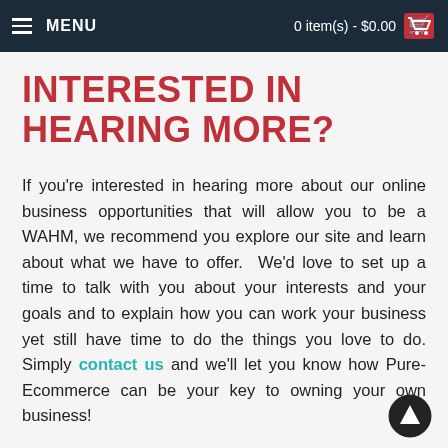MENU  |  0 item(s) - $0.00
INTERESTED IN HEARING MORE?
If you're interested in hearing more about our online business opportunities that will allow you to be a WAHM, we recommend you explore our site and learn about what we have to offer.  We'd love to set up a time to talk with you about your interests and your goals and to explain how you can work your business yet still have time to do the things you love to do. Simply contact us and we'll let you know how Pure-Ecommerce can be your key to owning your own business!